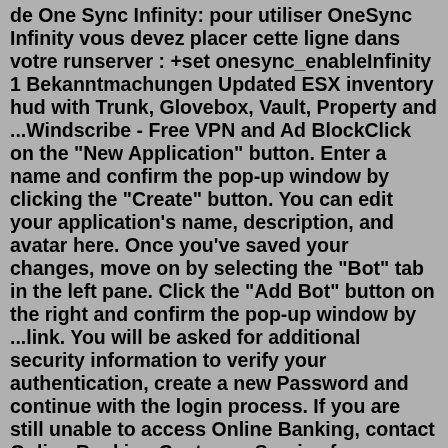de One Sync Infinity: pour utiliser OneSync Infinity vous devez placer cette ligne dans votre runserver : +set onesync_enableInfinity 1 Bekanntmachungen Updated ESX inventory hud with Trunk, Glovebox, Vault, Property and ...Windscribe - Free VPN and Ad BlockClick on the "New Application" button. Enter a name and confirm the pop-up window by clicking the "Create" button. You can edit your application's name, description, and avatar here. Once you've saved your changes, move on by selecting the "Bot" tab in the left pane. Click the "Add Bot" button on the right and confirm the pop-up window by ...link. You will be asked for additional security information to verify your authentication, create a new Password and continue with the login process. If you are still unable to access Online Banking, contact Online Banking Customer Service for assistance at 1-800-656-6561. Business customers should call 1-877-229-6428.This ASI allows you to increase these limits to prevent those crashes. Thanks to CitizenFX/FiveM for their weapon components limit patch. Install an